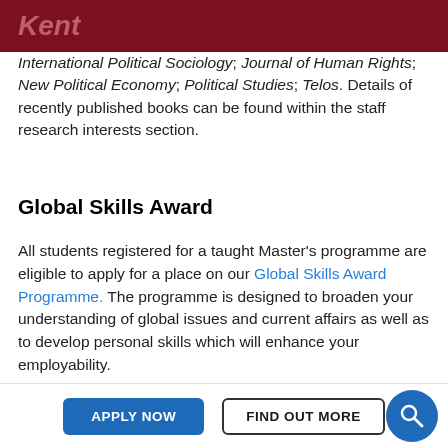Kent
International Political Sociology; Journal of Human Rights; New Political Economy; Political Studies; Telos. Details of recently published books can be found within the staff research interests section.
Global Skills Award
All students registered for a taught Master's programme are eligible to apply for a place on our Global Skills Award Programme. The programme is designed to broaden your understanding of global issues and current affairs as well as to develop personal skills which will enhance your employability.
APPLY NOW   FIND OUT MORE